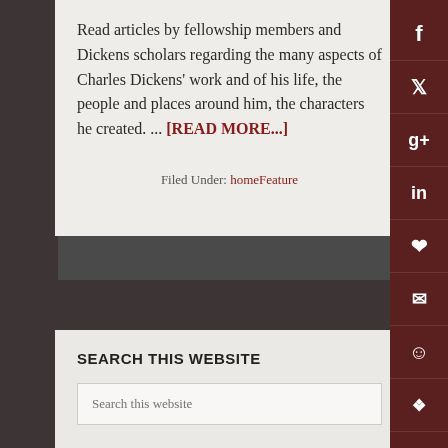Read articles by fellowship members and Dickens scholars regarding the many aspects of Charles Dickens' work and of his life, the people and places around him, the characters he created. ... [READ MORE...]
Filed Under: homeFeature
SEARCH THIS WEBSITE